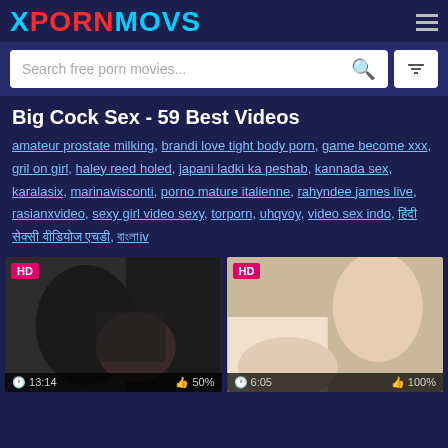XPORNMOVS
Search free porn movies...
Big Cock Sex - 59 Best Videos
amateur prostate milking, brandi love tight body porn, game become xxx, gril on girl, haley reed holed, japani ladki ka peshab, kannada sex, karalasix, marinavisconti, porno mature italienne, rahyndee james live, rasianxvideo, sexy girl video sexy, torporn, uhqvoy, video sex indo, हिंदी सेक्सी वीडियोज एचडी, বাংলাiv
[Figure (screenshot): Video thumbnail 1 - HD badge, duration 13:14, rating 50%]
[Figure (screenshot): Video thumbnail 2 - HD badge, duration 6:05, rating 100%]